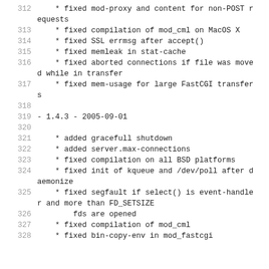312     * fixed mod-proxy and content for non-POST requests
313     * fixed compilation of mod_cml on MacOS X
314     * fixed SSL errmsg after accept()
315     * fixed memleak in stat-cache
316     * fixed aborted connections if file was moved while in transfer
317     * fixed mem-usage for large FastCGI transfers
318
319 - 1.4.3 - 2005-09-01
320
321     * added gracefull shutdown
322     * added server.max-connections
323     * fixed compilation on all BSD platforms
324     * fixed init of kqueue and /dev/poll after daemonize
325     * fixed segfault if select() is event-handler and more than FD_SETSIZE
326         fds are opened
327     * fixed compilation of mod_cml
328     * fixed bin-copy-env in mod_fastcgi